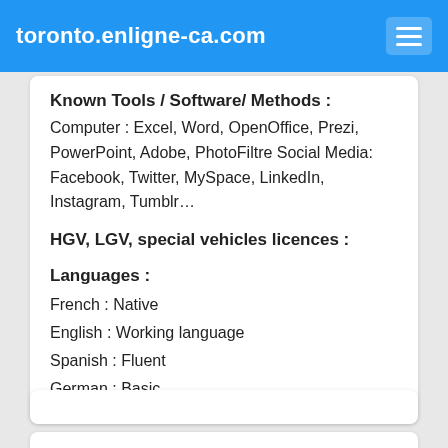toronto.enligne-ca.com
Known Tools / Software/ Methods :
Computer : Excel, Word, OpenOffice, Prezi, PowerPoint, Adobe, PhotoFiltre Social Media: Facebook, Twitter, MySpace, LinkedIn, Instagram, Tumblr…
HGV, LGV, special vehicles licences :
Languages :
French : Native
English : Working language
Spanish : Fluent
German : Basic